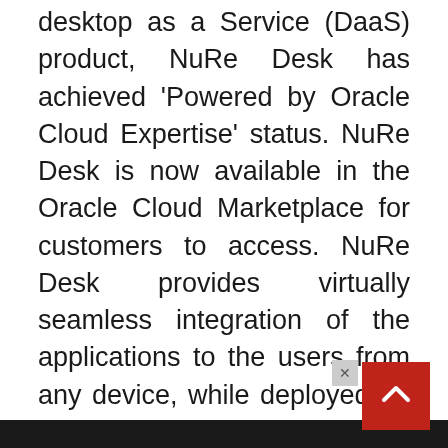desktop as a Service (DaaS) product, NuRe Desk has achieved 'Powered by Oracle Cloud Expertise' status. NuRe Desk is now available in the Oracle Cloud Marketplace for customers to access. NuRe Desk provides virtually seamless integration of the applications to the users from any device, while deployed on Oracle Cloud Infrastructure (OCI). The solution provides DaaS for employees by delivering desktops, CRM & other applications – on premise, outsourced or remote work providing a no compromise work speed even with low bandwidth. 3i Infotech's NuRe Desk also offers deep security that integrates with OCI's data isolation, data security, internal threat detection, and highly automated threat remediation.